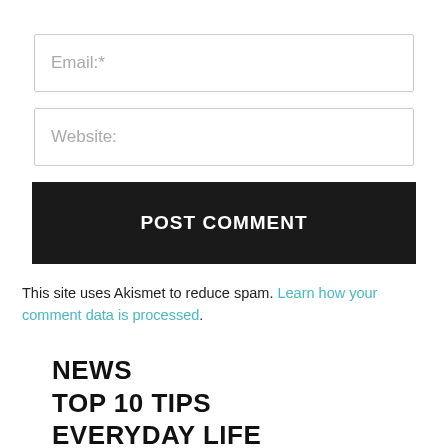Email:*
Website:
POST COMMENT
This site uses Akismet to reduce spam. Learn how your comment data is processed.
NEWS
TOP 10 TIPS
EVERYDAY LIFE
SPORT
TRIPS
EVENTS